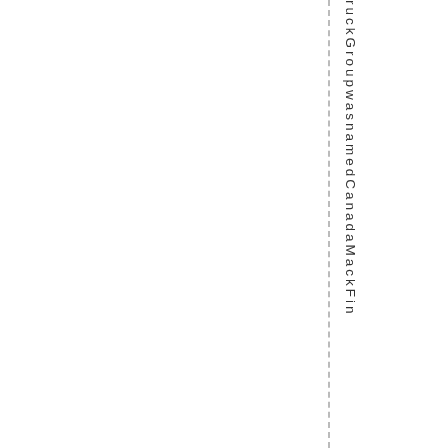ruckGroupwasnamedCanadaMackFin